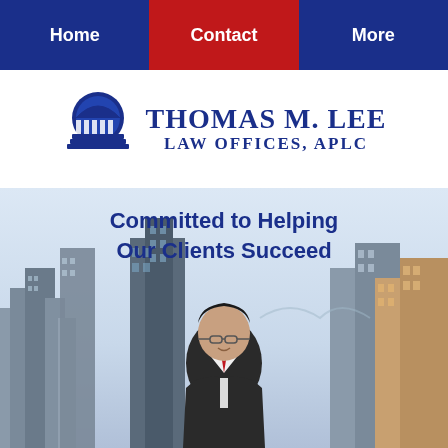Home | Contact | More
[Figure (logo): Thomas M. Lee Law Offices APLC logo with dome/columns icon and blue text]
[Figure (photo): Hero section with city skyline background and attorney Thomas M. Lee in foreground, with tagline 'Committed to Helping Our Clients Succeed']
Committed to Helping Our Clients Succeed